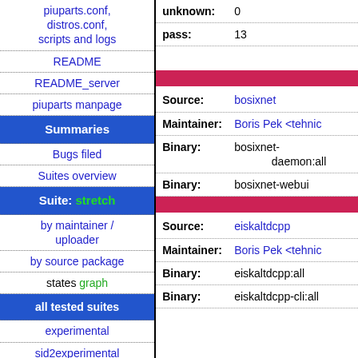piuparts.conf, distros.conf, scripts and logs
README
README_server
piuparts manpage
Summaries
Bugs filed
Suites overview
Suite: stretch
by maintainer / uploader
by source package
states graph
all tested suites
experimental
sid2experimental
sid
sid-strict
| Field | Value |
| --- | --- |
| unknown: | 0 |
| pass: | 13 |
| Source: | bosixnet |
| Maintainer: | Boris Pek <tehnic |
| Binary: | bosixnet-daemon:all |
| Binary: | bosixnet-webui |
| Source: | eiskaltdcpp |
| Maintainer: | Boris Pek <tehnic |
| Binary: | eiskaltdcpp:all |
| Binary: | eiskaltdcpp-cli:all |